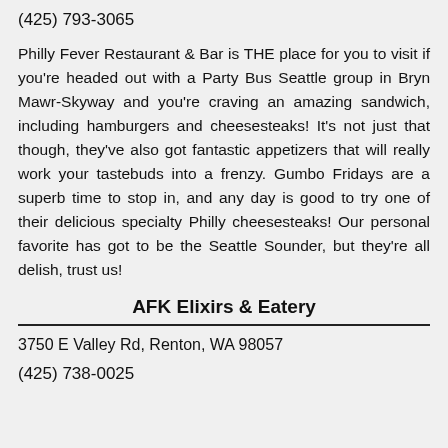(425) 793-3065
Philly Fever Restaurant & Bar is THE place for you to visit if you're headed out with a Party Bus Seattle group in Bryn Mawr-Skyway and you're craving an amazing sandwich, including hamburgers and cheesesteaks! It's not just that though, they've also got fantastic appetizers that will really work your tastebuds into a frenzy. Gumbo Fridays are a superb time to stop in, and any day is good to try one of their delicious specialty Philly cheesesteaks! Our personal favorite has got to be the Seattle Sounder, but they're all delish, trust us!
AFK Elixirs & Eatery
3750 E Valley Rd, Renton, WA 98057
(425) 738-0025